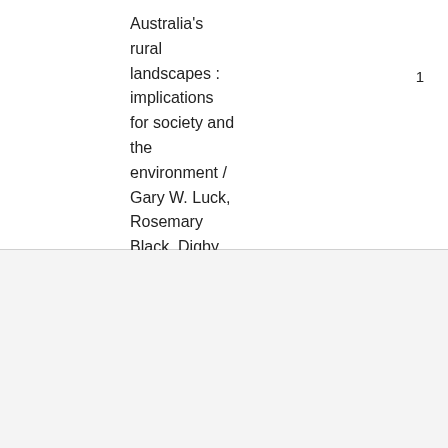Australia's rural landscapes : implications for society and the environment / Gary W. Luck, Rosemary Black, Digby Race, editors
1
Rural development -- Australia -- Information services.
1991
: Telecottages :
1